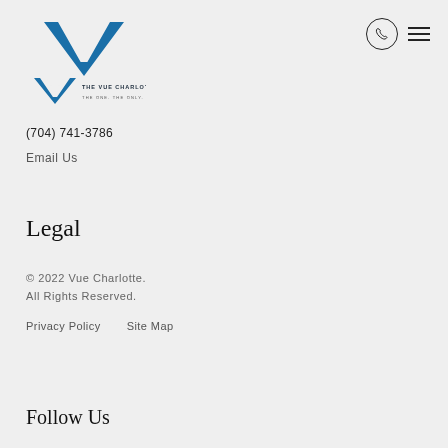[Figure (logo): The Vue Charlotte logo with a blue V shape and text 'THE VUE CHARLOTTE' and 'THE ONE. THE ONLY.']
(704) 741-3786
Email Us
Legal
© 2022 Vue Charlotte. All Rights Reserved.
Privacy Policy   Site Map
Follow Us